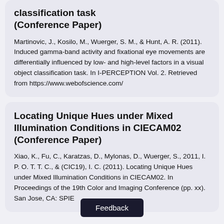classification task (Conference Paper)
Martinovic, J., Kosilo, M., Wuerger, S. M., & Hunt, A. R. (2011). Induced gamma-band activity and fixational eye movements are differentially influenced by low- and high-level factors in a visual object classification task. In I-PERCEPTION Vol. 2. Retrieved from https://www.webofscience.com/
Locating Unique Hues under Mixed Illumination Conditions in CIECAM02 (Conference Paper)
Xiao, K., Fu, C., Karatzas, D., Mylonas, D., Wuerger, S., 2011, I. P. O. T. T. C., & (CIC19), I. C. (2011). Locating Unique Hues under Mixed Illumination Conditions in CIECAM02. In Proceedings of the 19th Color and Imaging Conference (pp. xx). San Jose, CA: SPIE
Feedback